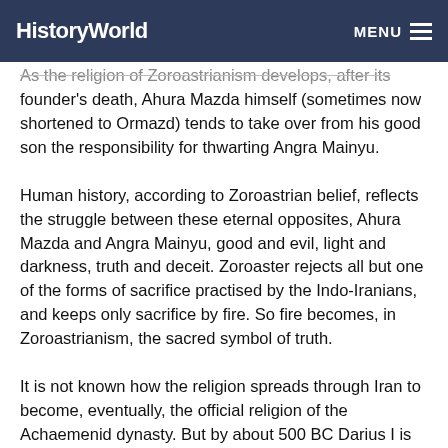HistoryWorld  MENU
As the religion of Zoroastrianism develops, after its founder's death, Ahura Mazda himself (sometimes now shortened to Ormazd) tends to take over from his good son the responsibility for thwarting Angra Mainyu.
Human history, according to Zoroastrian belief, reflects the struggle between these eternal opposites, Ahura Mazda and Angra Mainyu, good and evil, light and darkness, truth and deceit. Zoroaster rejects all but one of the forms of sacrifice practised by the Indo-Iranians, and keeps only sacrifice by fire. So fire becomes, in Zoroastrianism, the sacred symbol of truth.
It is not known how the religion spreads through Iran to become, eventually, the official religion of the Achaemenid dynasty. But by about 500 BC Darius I is proudly proclaiming in his inscriptions: 'By the grace of Ahura